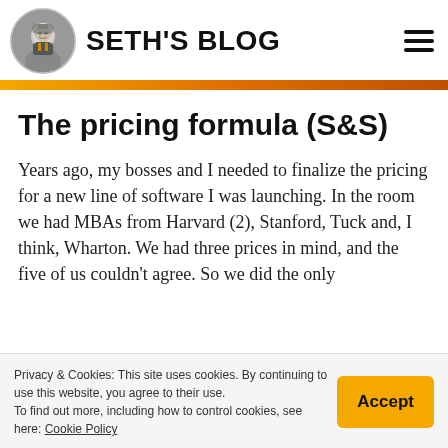SETH'S BLOG
The pricing formula (S&S)
Years ago, my bosses and I needed to finalize the pricing for a new line of software I was launching. In the room we had MBAs from Harvard (2), Stanford, Tuck and, I think, Wharton. We had three prices in mind, and the five of us couldn't agree. So we did the only
Privacy & Cookies: This site uses cookies. By continuing to use this website, you agree to their use.
To find out more, including how to control cookies, see here: Cookie Policy